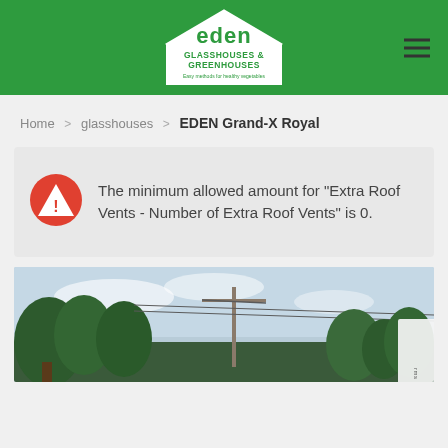Eden Glasshouses & Greenhouses - Easy methods for healthy vegetables
Home > glasshouses > EDEN Grand-X Royal
The minimum allowed amount for "Extra Roof Vents - Number of Extra Roof Vents" is 0.
[Figure (photo): Outdoor photo showing trees and a utility pole against a light sky]